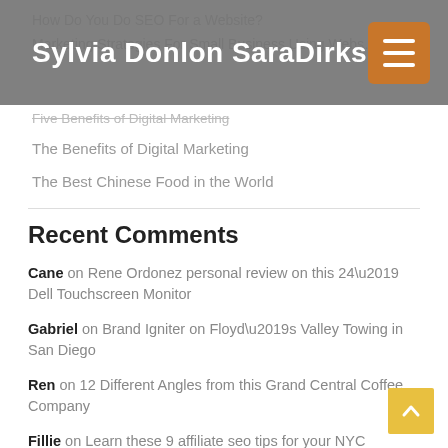Sylvia Donlon SaraDirks
How Do You Do SEO For a Website?
Marketing Strategies For Small Business Using Webs…
Five Benefits of Digital Marketing
The Benefits of Digital Marketing
The Best Chinese Food in the World
Recent Comments
Cane on Rene Ordonez personal review on this 24’ Dell Touchscreen Monitor
Gabriel on Brand Igniter on Floyd’s Valley Towing in San Diego
Ren on 12 Different Angles from this Grand Central Coffee Company
Fillie on Learn these 9 affiliate seo tips for your NYC businesses from Ahrefs
Haron on Learn these 9 affiliate seo tips for your NYC businesses from Ahrefs